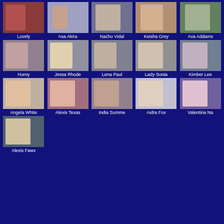[Figure (photo): Thumbnail image]
Lovely
[Figure (photo): Thumbnail image]
Asa Akira
[Figure (photo): Thumbnail image]
Nacho Vidal
[Figure (photo): Thumbnail image]
Keisha Grey
[Figure (photo): Thumbnail image]
Ava Addams
[Figure (photo): Thumbnail image]
Horny
[Figure (photo): Thumbnail image]
Jessa Rhode
[Figure (photo): Thumbnail image]
Lena Paul
[Figure (photo): Thumbnail image]
Lady Sonia
[Figure (photo): Thumbnail image]
Kimber Lee
[Figure (photo): Thumbnail image]
Angela White
[Figure (photo): Thumbnail image]
Alexis Texas
[Figure (photo): Thumbnail image]
India Summe
[Figure (photo): Thumbnail image]
Aidra Fox
[Figure (photo): Thumbnail image]
Valentina Na
[Figure (photo): Thumbnail image]
Alexis Fawx